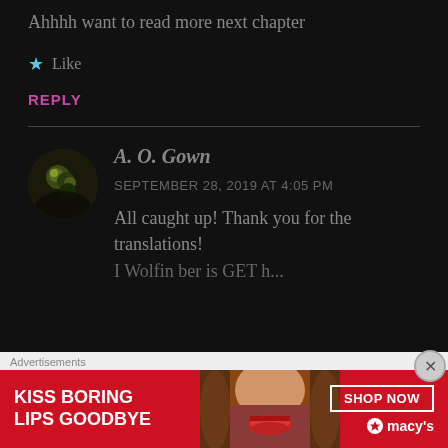Ahhhh want to read more next chapter
★ Like
REPLY
A. O. Gown
SEPTEMBER 28, 2019 AT 4:05 PM
All caught up! Thank you for the translations!
[Figure (other): Advertisement banner: KISS BORING LIPS GOODBYE with woman's face and SHOP NOW button, macys logo]